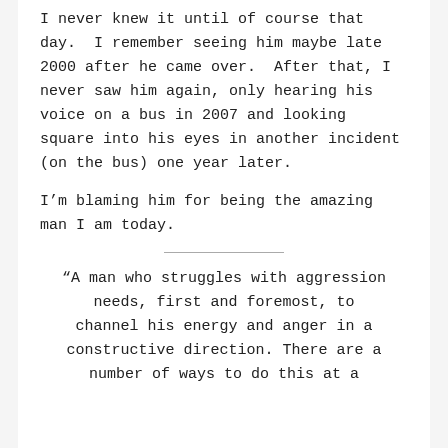I never knew it until of course that day.  I remember seeing him maybe late 2000 after he came over.  After that, I never saw him again, only hearing his voice on a bus in 2007 and looking square into his eyes in another incident (on the bus) one year later.
I'm blaming him for being the amazing man I am today.
“A man who struggles with aggression needs, first and foremost, to channel his energy and anger in a constructive direction. There are a number of ways to do this at a